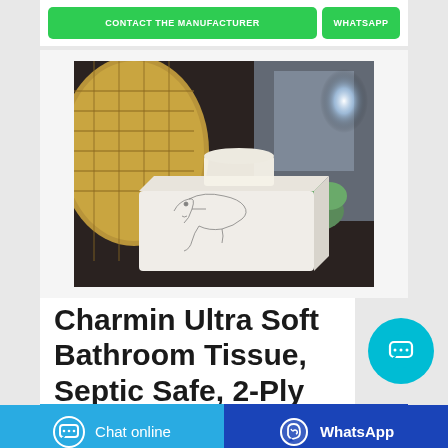[Figure (other): Two green buttons: 'CONTACT THE MANUFACTURER' and 'WHATSAPP' on a white background]
[Figure (photo): Photo of a Charmin tissue box with decorative face illustration, tissues pulled out, set against a woven basket and succulent plant background with blue light]
Charmin Ultra Soft Bathroom Tissue, Septic Safe, 2-Ply
[Figure (other): Cyan circular chat bubble button]
[Figure (other): Bottom bar with 'Chat online' button (cyan) and 'WhatsApp' button (dark blue)]